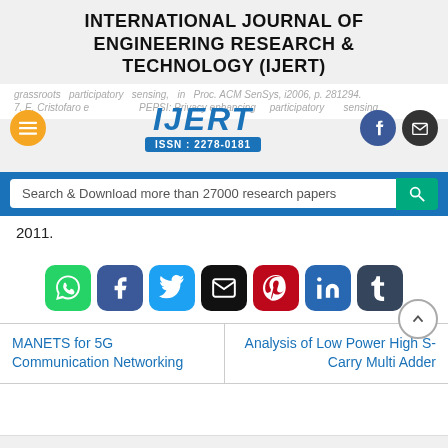INTERNATIONAL JOURNAL OF ENGINEERING RESEARCH & TECHNOLOGY (IJERT)
[Figure (logo): IJERT logo with ISSN: 2278-0181, flanked by orange menu button on left and Facebook/email icons on right]
grassroots participatory sensing, in Proc. ACM SenSys, i2006, p. 281294.
7. E. Cristofaro et al., PEPSI: Privacy enhancing participatory sensing...
2011.
[Figure (screenshot): Search bar with text 'Search & Download more than 27000 research papers' and green search button]
[Figure (infographic): Row of social media share buttons: WhatsApp, Facebook, Twitter, Email, Pinterest, LinkedIn, Tumblr]
MANETS for 5G Communication Networking
Analysis of Low Power High S-Carry Multi Adder